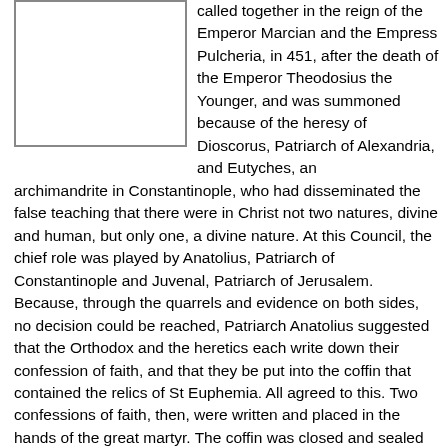[Figure (other): Empty white box with border, likely placeholder for an image.]
called together in the reign of the Emperor Marcian and the Empress Pulcheria, in 451, after the death of the Emperor Theodosius the Younger, and was summoned because of the heresy of Dioscorus, Patriarch of Alexandria, and Eutyches, an archimandrite in Constantinople, who had disseminated the false teaching that there were in Christ not two natures, divine and human, but only one, a divine nature. At this Council, the chief role was played by Anatolius, Patriarch of Constantinople and Juvenal, Patriarch of Jerusalem. Because, through the quarrels and evidence on both sides, no decision could be reached, Patriarch Anatolius suggested that the Orthodox and the heretics each write down their confession of faith, and that they be put into the coffin that contained the relics of St Euphemia. All agreed to this. Two confessions of faith, then, were written and placed in the hands of the great martyr. The coffin was closed and sealed with the imperial seal, a watch then being set over it. They then all spent three days in fasting and prayer. On the fourth day, when the tomb was opened, they saw the Orthodox confession of faith in the saint's right hand and the heretical one beneath her feet. Thus was the conflict resolved by God's power, on the side of Orthodoxy. In the time of the Emperor Heraclius, the relics of St Euphemia were translated from Chalcedon to Constantinople, to the church